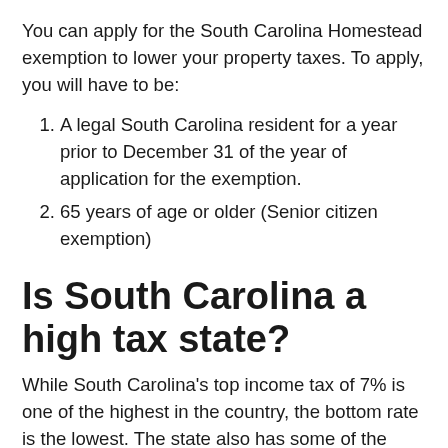You can apply for the South Carolina Homestead exemption to lower your property taxes. To apply, you will have to be:
A legal South Carolina resident for a year prior to December 31 of the year of application for the exemption.
65 years of age or older (Senior citizen exemption)
Is South Carolina a high tax state?
While South Carolina's top income tax of 7% is one of the highest in the country, the bottom rate is the lowest. The state also has some of the lowest property and gas taxes in